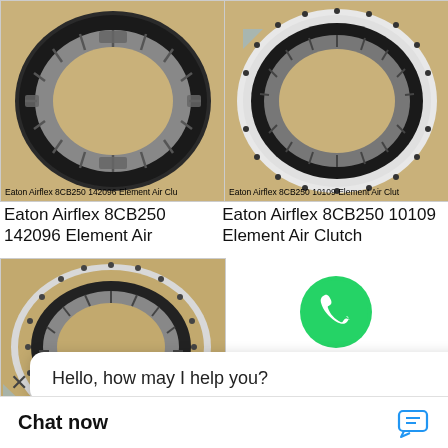[Figure (photo): Eaton Airflex 8CB250 142096 Element Air Clutch - top left product photo showing a large ring/clutch component on tan background]
[Figure (photo): Eaton Airflex 8CB250 10109 Element Air Clutch - top right product photo showing a large ring/clutch component with white outer ring on tan background]
Eaton Airflex 8CB250 142096 Element Air
Eaton Airflex 8CB250 10109 Element Air Clutch
[Figure (photo): Eaton Airflex 6CB200 - bottom left product photo showing a large ring/clutch component on tan background]
[Figure (logo): WhatsApp green phone icon logo]
WhatsApp Online
Hello, how may I help you?
Eaton Airflex 6CB200
Chat now